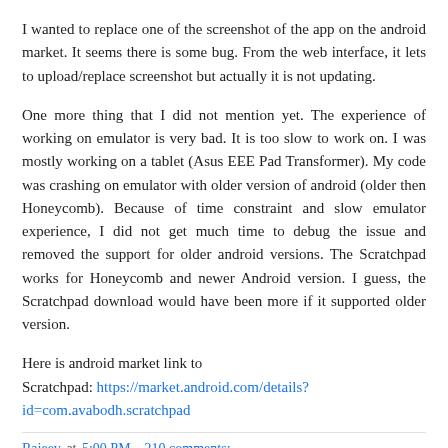I wanted to replace one of the screenshot of the app on the android market. It seems there is some bug. From the web interface, it lets to upload/replace screenshot but actually it is not updating.
One more thing that I did not mention yet. The experience of working on emulator is very bad. It is too slow to work on. I was mostly working on a tablet (Asus EEE Pad Transformer). My code was crashing on emulator with older version of android (older then Honeycomb). Because of time constraint and slow emulator experience, I did not get much time to debug the issue and removed the support for older android versions. The Scratchpad works for Honeycomb and newer Android version. I guess, the Scratchpad download would have been more if it supported older version.
Here is android market link to Scratchpad: https://market.android.com/details?id=com.avabodh.scratchpad
Rajeev at 5:00 PM    210 comments: